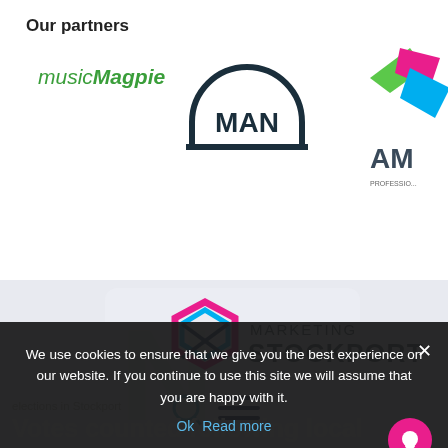Our partners
[Figure (logo): musicMagpie logo in green italic text]
[Figure (logo): MAN truck logo - circular arch with MAN text]
[Figure (logo): Partial AM professional logo with colorful geometric arrow shapes]
[Figure (screenshot): Marketing Stockport website header with hexagonal logo and search/menu icons on light grey background]
We use cookies to ensure that we give you the best experience on our website. If you continue to use this site we will assume that you are happy with it.
Ok   Read more
Votes counted following local elections in Stockport
Votes counted following local